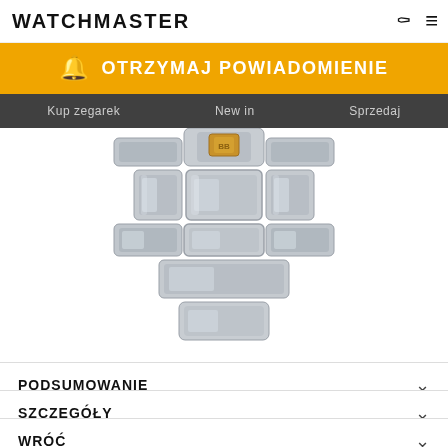WATCHMASTER
[Figure (infographic): Orange notification banner with bell icon and text OTRZYMAJ POWIADOMIENIE (Get notification) in white bold uppercase letters on orange background]
Kup zegarek   New in   Sprzedaj
[Figure (photo): Close-up photo of a watch bracelet/clasp in stainless steel with a gold-colored crown/crown detail visible at top center]
PODSUMOWANIE
SZCZEGÓŁY
WRÓĆ